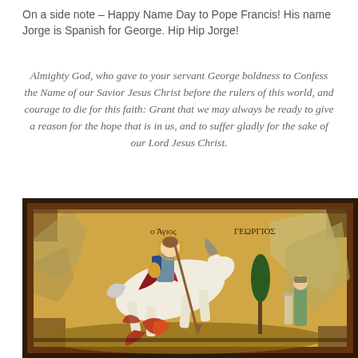On a side note – Happy Name Day to Pope Francis! His name Jorge is Spanish for George. Hip Hip Jorge!
Almighty God, who gave to your servant George boldness to Confess the Name of our Savior Jesus Christ before the rulers of this world, and courage to die for this faith: Grant that we may always be ready to give a reason for the hope that is in us, and to suffer gladly for the sake of our Lord Jesus Christ.
[Figure (illustration): A Byzantine-style religious icon painting depicting Saint George (ο Άγιος Γεώργιος) on a white horse slaying a dragon with a lance. A figure stands to the right near a monument. Greek text labels appear in the upper portion of the image. The icon has a dark border and golden mosaic background.]